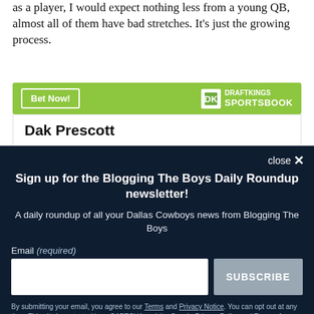as a player, I would expect nothing less from a young QB, almost all of them have bad stretches. It's just the growing process.
[Figure (other): DraftKings Sportsbook advertisement banner with 'Bet Now!' button and DraftKings logo on green background, showing 'Dak Prescott']
Sign up for the Blogging The Boys Daily Roundup newsletter!
A daily roundup of all your Dallas Cowboys news from Blogging The Boys
Email (required)
By submitting your email, you agree to our Terms and Privacy Notice. You can opt out at any time. This site is protected by reCAPTCHA and the Google Privacy Policy and Terms of Service apply.